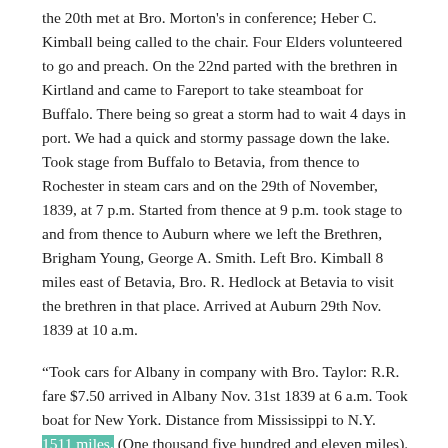the 20th met at Bro. Morton's in conference; Heber C. Kimball being called to the chair. Four Elders volunteered to go and preach. On the 22nd parted with the brethren in Kirtland and came to Fareport to take steamboat for Buffalo. There being so great a storm had to wait 4 days in port. We had a quick and stormy passage down the lake. Took stage from Buffalo to Betavia, from thence to Rochester in steam cars and on the 29th of November, 1839, at 7 p.m. Started from thence at 9 p.m. took stage to and from thence to Auburn where we left the Brethren, Brigham Young, George A. Smith. Left Bro. Kimball 8 miles east of Betavia, Bro. R. Hedlock at Betavia to visit the brethren in that place. Arrived at Auburn 29th Nov. 1839 at 10 a.m.
“Took cars for Albany in company with Bro. Taylor: R.R. fare $7.50 arrived in Albany Nov. 31st 1839 at 6 a.m. Took boat for New York. Distance from Mississippi to N.Y. 1511 miles. (One thousand five hundred and eleven miles).